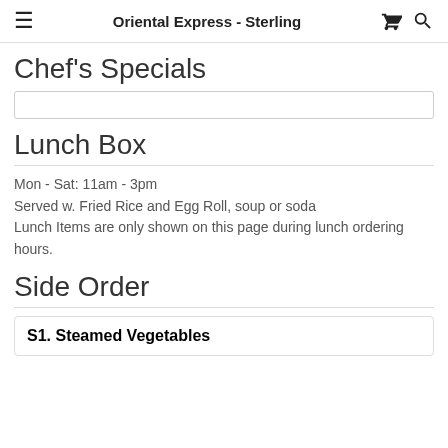Oriental Express - Sterling
Chef's Specials
Lunch Box
Mon - Sat: 11am - 3pm
Served w. Fried Rice and Egg Roll, soup or soda
Lunch Items are only shown on this page during lunch ordering hours.
Side Order
S1. Steamed Vegetables